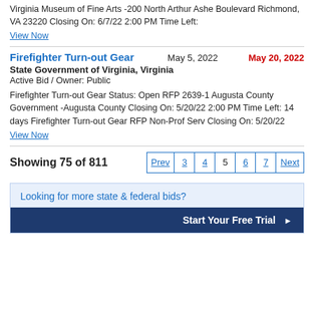Virginia Museum of Fine Arts -200 North Arthur Ashe Boulevard Richmond, VA 23220 Closing On: 6/7/22 2:00 PM Time Left:
View Now
Firefighter Turn-out Gear   May 5, 2022   May 20, 2022
State Government of Virginia, Virginia
Active Bid / Owner: Public
Firefighter Turn-out Gear Status: Open RFP 2639-1 Augusta County Government -Augusta County Closing On: 5/20/22 2:00 PM Time Left: 14 days Firefighter Turn-out Gear RFP Non-Prof Serv Closing On: 5/20/22
View Now
Showing 75 of 811
Prev  3  4  5  6  7  Next
Looking for more state & federal bids?
Start Your Free Trial ▶